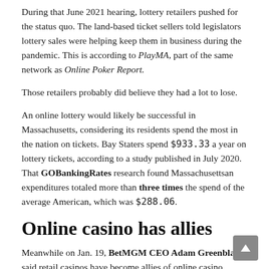During that June 2021 hearing, lottery retailers pushed for the status quo. The land-based ticket sellers told legislators lottery sales were helping keep them in business during the pandemic. This is according to PlayMA, part of the same network as Online Poker Report.
Those retailers probably did believe they had a lot to lose.
An online lottery would likely be successful in Massachusetts, considering its residents spend the most in the nation on tickets. Bay Staters spend $933.33 a year on lottery tickets, according to a study published in July 2020. That GOBankingRates research found Massachusettsan expenditures totaled more than three times the spend of the average American, which was $288.06.
Online casino has allies
Meanwhile on Jan. 19, BetMGM CEO Adam Greenblatt said retail casinos have become allies of online casino operators. When states consider online casino legislation, retail casino